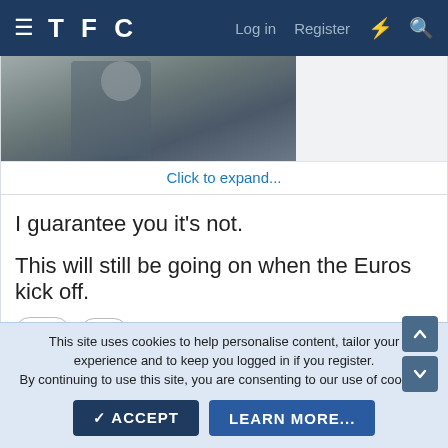TFC  Log in  Register
[Figure (photo): Partially visible photo of a person, partially cut off, with a 'Click to expand...' link below]
Click to expand...
I guarantee you it's not.
This will still be going on when the Euros kick off.
😐 1   ✓ 1
AlabamaSpur 🏆🏆🏆🏆🏆 Tier 1
This site uses cookies to help personalise content, tailor your experience and to keep you logged in if you register. By continuing to use this site, you are consenting to our use of cookies.
✓ ACCEPT   LEARN MORE...